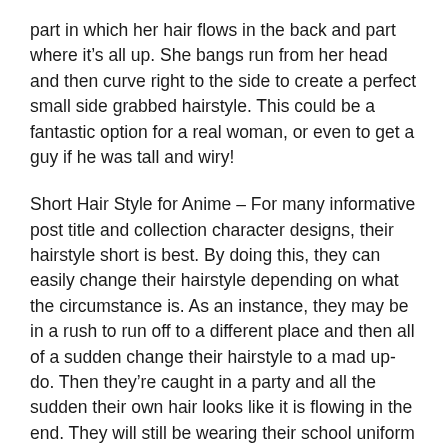part in which her hair flows in the back and part where it's all up. She bangs run from her head and then curve right to the side to create a perfect small side grabbed hairstyle. This could be a fantastic option for a real woman, or even to get a guy if he was tall and wiry!
Short Hair Style for Anime – For many informative post title and collection character designs, their hairstyle short is best. By doing this, they can easily change their hairstyle depending on what the circumstance is. As an instance, they may be in a rush to run off to a different place and then all of a sudden change their hairstyle to a mad up-do. Then they're caught in a party and all the sudden their own hair looks like it is flowing in the end. They will still be wearing their school uniform and they will have their signature black eye area and a sword on their rear. Short hair is really enjoyable and so adorable. Especially in anime. And for many guys with really short hair, there certain s a girls short hair style for them. So here's a list of merely some of the finest looking